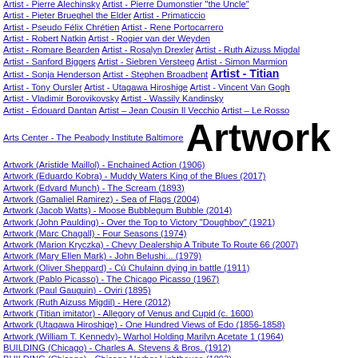Artist - Pierre Alechinsky  Artist - Pierre Dumonstier "the Uncle"
Artist - Pieter Brueghel the Elder  Artist - Primaticcio
Artist - Pseudo Félix Chrétien  Artist - Rene Portocarrero
Artist - Robert Natkin  Artist - Rogier van der Weyden
Artist - Romare Bearden  Artist - Rosalyn Drexler  Artist - Ruth Aizuss Migdal
Artist - Sanford Biggers  Artist - Siebren Versteeg  Artist - Simon Marmion
Artist - Sonja Henderson  Artist - Stephen Broadbent  Artist - Titian
Artist - Tony Oursler  Artist - Utagawa Hiroshige  Artist - Vincent Van Gogh
Artist - Vladimir Borovikovsky  Artist - Wassily Kandinsky
Artist - Édouard Dantan  Artist – Jean Cousin Il Vecchio  Artist – Le Rosso
Arts Center - The Peabody Institute Baltimore   Artwork
Artwork (Aristide Maillol) - Enchained Action (1906)
Artwork (Eduardo Kobra) - Muddy Waters King of the Blues (2017)
Artwork (Edvard Munch) - The Scream (1893)
Artwork (Gamaliel Ramirez) - Sea of Flags (2004)
Artwork (Jacob Watts) - Moose Bubblegum Bubble (2014)
Artwork (John Paulding) - Over the Top to Victory "Doughboy" (1921)
Artwork (Marc Chagall) - Four Seasons (1974)
Artwork (Marion Kryczka) - Chevy Dealership A Tribute To Route 66 (2007)
Artwork (Mary Ellen Mark) - John Belushi... (1979)
Artwork (Oliver Sheppard) - Cú Chulainn dying in battle (1911)
Artwork (Pablo Picasso) - The Chicago Picasso (1967)
Artwork (Paul Gauguin) - Oviri (1895)
Artwork (Ruth Aizuss Migdil) - Here (2012)
Artwork (Titian imitator) - Allegory of Venus and Cupid (c. 1600)
Artwork (Utagawa Hiroshige) - One Hundred Views of Edo (1856-1858)
Artwork (William T. Kennedy)- Warhol Holding Marilyn Acetate 1 (1964)
BUILDING (Chicago) - Charles A. Stevens & Bros. (1912)
BUILDING (Chicago) - Chicago Harbor Lighthouse (1893)
BUILDING (Chicago) - James R. Thompson Center (1985)
BUILDING (Chicago) - One South Wacker Drive (1982)